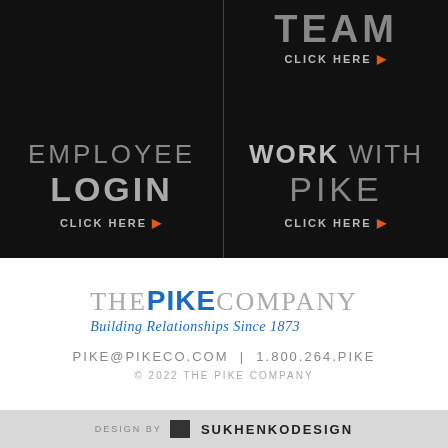EMPLOYEE LOGIN CLICK HERE
TEAM CLICK HERE
WORK WITH PIKE CLICK HERE
[Figure (logo): The Pike Company logo with tagline 'Building Relationships Since 1873']
PIKE@PIKECO.COM | 1.800.264.PIKE
© 2022 THE PIKE COMPANY
DESIGN BY SUKHENKODESIGN